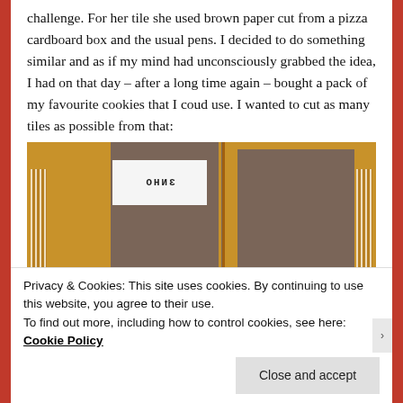challenge. For her tile she used brown paper cut from a pizza cardboard box and the usual pens. I decided to do something similar and as if my mind had unconsciously grabbed the idea, I had on that day – after a long time again – bought a pack of my favourite cookies that I coud use. I wanted to cut as many tiles as possible from that:
[Figure (photo): Photo of three cookie/biscuit cardboard boxes laid flat on a wooden table surface. The boxes are orange/yellow colored. One box in the center shows a label reading 'OHNE' (reversed). The boxes appear to be being used as raw material for Zentangle tiles.]
Privacy & Cookies: This site uses cookies. By continuing to use this website, you agree to their use.
To find out more, including how to control cookies, see here: Cookie Policy
Close and accept